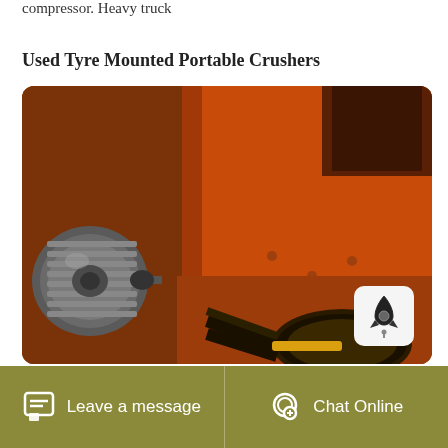compressor. Heavy truck
Used Tyre Mounted Portable Crushers
[Figure (photo): Close-up photo of an orange industrial crusher/impact mill machine showing the heavy steel body, an electric motor on the left side, drive belts and pulleys at the bottom, and a small notification icon badge in the lower right corner of the image frame.]
Leave a message   Chat Online